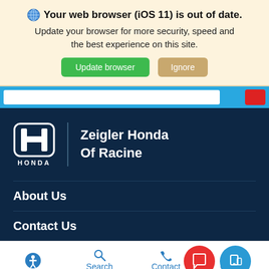Your web browser (iOS 11) is out of date.
Update your browser for more security, speed and the best experience on this site.
[Figure (screenshot): Browser update notification banner with Update browser (green) and Ignore (tan) buttons]
[Figure (logo): Honda logo with H badge and HONDA text, beside Zeigler Honda Of Racine dealer name]
Zeigler Honda
Of Racine
About Us
Contact Us
Search   Contact   Glo...x